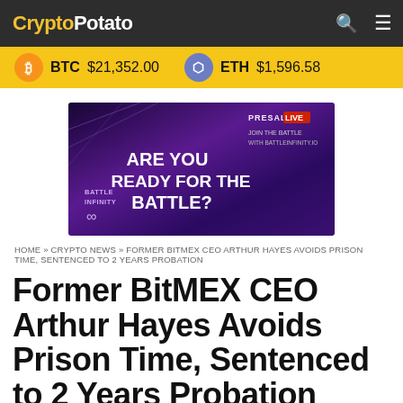CryptoPotato
BTC $21,352.00   ETH $1,596.58
[Figure (illustration): Battle Infinity presale advertisement banner with purple background, showing text: ARE YOU READY FOR THE BATTLE? BATTLE INFINITY. PRESALE LIVE. JOIN THE BATTLE WITH BATTLEINFINITY.IO]
HOME » CRYPTO NEWS » FORMER BITMEX CEO ARTHUR HAYES AVOIDS PRISON TIME, SENTENCED TO 2 YEARS PROBATION
Former BitMEX CEO Arthur Hayes Avoids Prison Time, Sentenced to 2 Years Probation